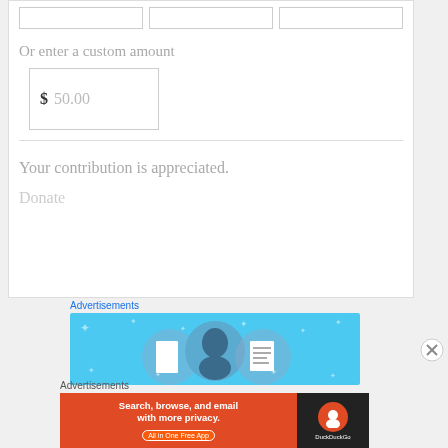Or enter a custom amount
$ 50.00
Your contribution is appreciated.
Donate
Advertisements
[Figure (screenshot): Blue advertisement banner with three circular icons representing a door, a figure, and a document]
Advertisements
[Figure (screenshot): DuckDuckGo advertisement: Search, browse, and email with more privacy. All in One Free App]